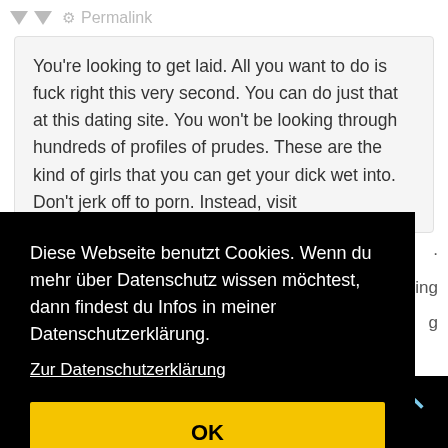▼ ▼ 🔗 Permalink
You're looking to get laid. All you want to do is fuck right this very second. You can do just that at this dating site. You won't be looking through hundreds of profiles of prudes. These are the kind of girls that you can get your dick wet into. Don't jerk off to porn. Instead, visit
Diese Webseite benutzt Cookies. Wenn du mehr über Datenschutz wissen möchtest, dann findest du Infos in meiner Datenschutzerklärung.
Zur Datenschutzerklärung
OK